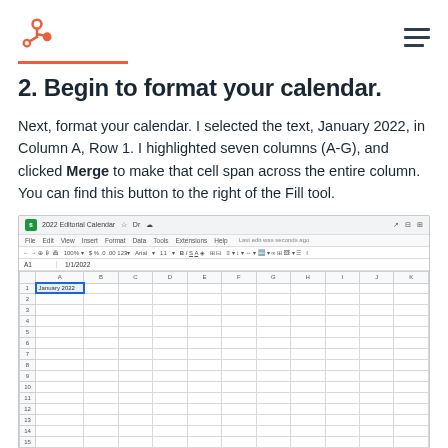HubSpot logo and hamburger menu
2. Begin to format your calendar.
Next, format your calendar. I selected the text, January 2022, in Column A, Row 1. I highlighted seven columns (A-G), and clicked Merge to make that cell span across the entire column. You can find this button to the right of the Fill tool.
[Figure (screenshot): Screenshot of Google Sheets showing a 2022 Editorial Calendar spreadsheet with 'January 2022' entered in cell A1, toolbar and menus visible at the top.]